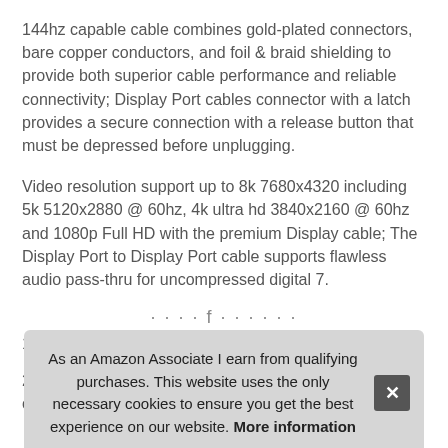144hz capable cable combines gold-plated connectors, bare copper conductors, and foil & braid shielding to provide both superior cable performance and reliable connectivity; Display Port cables connector with a latch provides a secure connection with a release button that must be depressed before unplugging.
Video resolution support up to 8k 7680x4320 including 5k 5120x2880 @ 60hz, 4k ultra hd 3840x2160 @ 60hz and 1080p Full HD with the premium Display cable; The Display Port to Display Port cable supports flawless audio pass-thru for uncompressed digital 7.
1, 5... high
2 display stream compression, fec forward error correction
As an Amazon Associate I earn from qualifying purchases. This website uses the only necessary cookies to ensure you get the best experience on our website. More information